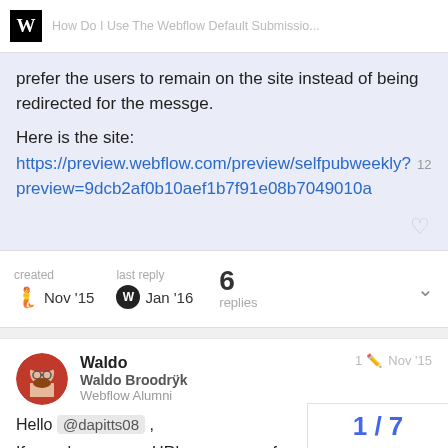W  How Do I Use The Webflow Default Submissio...
prefer the users to remain on the site instead of being redirected for the messge.
Here is the site:
https://preview.webflow.com/preview/selfpubweekly?preview=9dcb2af0b10aef1b7f91e08b7049010a  12
created  Nov '15    last reply  Jan '16    6 replies
Waldo
Waldo Broodrÿk
Webflow Alumni
1 / Nov '15
Hello @dapitts08 ,
If you change your URL success on form
1 / 7